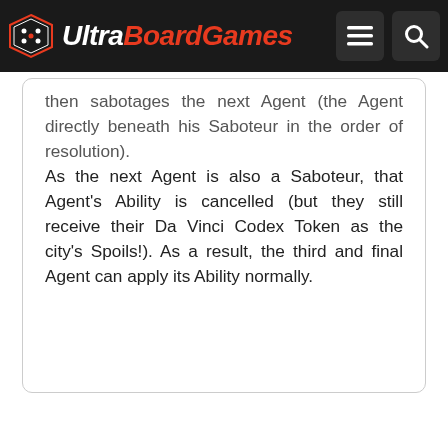UltraBoardGames
then sabotages the next Agent (the Agent directly beneath his Saboteur in the order of resolution).
As the next Agent is also a Saboteur, that Agent's Ability is cancelled (but they still receive their Da Vinci Codex Token as the city's Spoils!). As a result, the third and final Agent can apply its Ability normally.